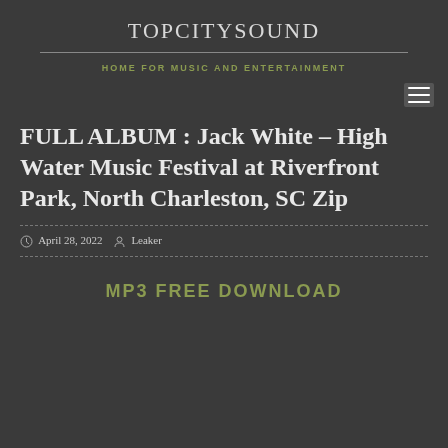TOPCITYSOUND
HOME FOR MUSIC AND ENTERTAINMENT
FULL ALBUM : Jack White – High Water Music Festival at Riverfront Park, North Charleston, SC Zip
April 28, 2022  Leaker
MP3 FREE DOWNLOAD